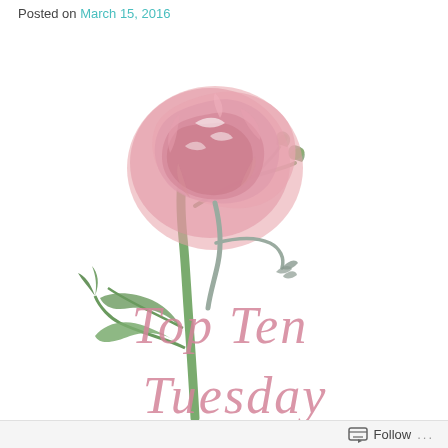Posted on March 15, 2016
[Figure (illustration): Watercolor illustration of a pink peony flower on a green stem with leaves, and cursive pink text reading 'Top Ten Tuesday' overlaid on the lower portion of the image.]
Follow ...